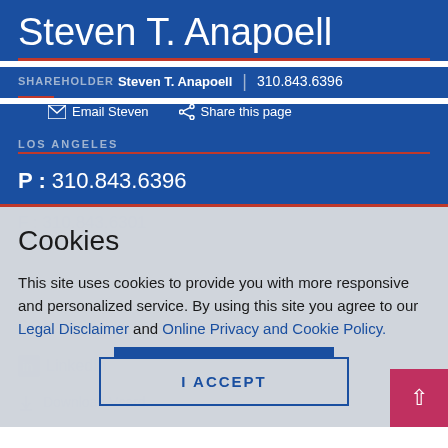Steven T. Anapoell
SHAREHOLDER Steven T. Anapoell | 310.843.6396
Email Steven   Share this page
LOS ANGELES
P : 310.843.6396
Cookies
This site uses cookies to provide you with more responsive and personalized service. By using this site you agree to our Legal Disclaimer and Online Privacy and Cookie Policy.
I ACCEPT